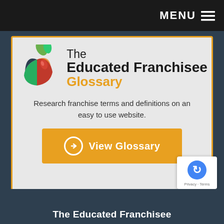MENU
[Figure (logo): The Educated Franchisee Glossary logo with colorful apple icon]
Research franchise terms and definitions on an easy to use website.
View Glossary
[Figure (other): reCAPTCHA Privacy - Terms badge]
The Educated Franchisee